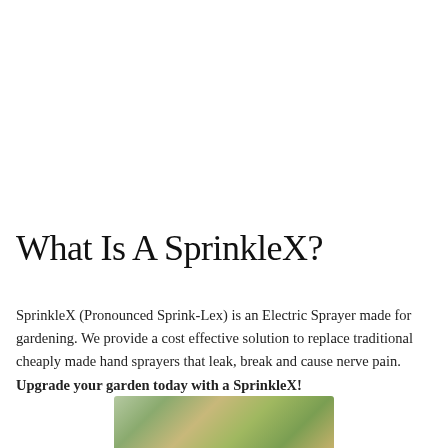What Is A SprinkleX?
SprinkleX (Pronounced Sprink-Lex) is an Electric Sprayer made for gardening. We provide a cost effective solution to replace traditional cheaply made hand sprayers that leak, break and cause nerve pain. Upgrade your garden today with a SprinkleX!
[Figure (photo): Photo of garden/plants, partially visible at bottom of page]